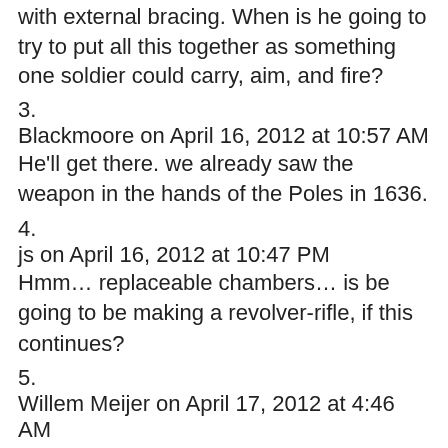with external bracing. When is he going to try to put all this together as something one soldier could carry, aim, and fire?
3.
Blackmoore on April 16, 2012 at 10:57 AM
He'll get there. we already saw the weapon in the hands of the Poles in 1636.
4.
js on April 16, 2012 at 10:47 PM
Hmm… replaceable chambers… is be going to be making a revolver-rifle, if this continues?
5.
Willem Meijer on April 17, 2012 at 4:46 AM
When each soldier has to carry a heavvy musket, and a bunch of replacement chambers, will he still be able to walk? It seems a very cumbersome way to avoid making cartridges.